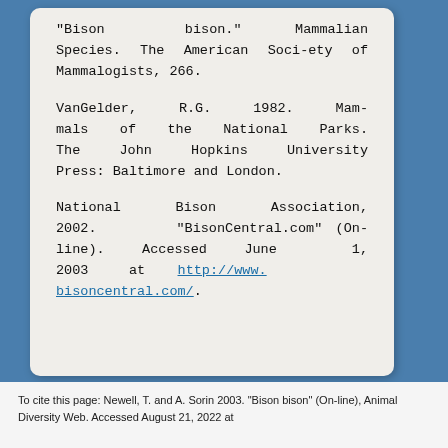"Bison bison." Mammalian Species. The American Society of Mammalogists, 266.
VanGelder, R.G. 1982. Mammals of the National Parks. The John Hopkins University Press: Baltimore and London.
National Bison Association, 2002. "BisonCentral.com" (On-line). Accessed June 1, 2003 at http://www.bisoncentral.com/.
To cite this page: Newell, T. and A. Sorin 2003. "Bison bison" (On-line), Animal Diversity Web. Accessed August 21, 2022 at